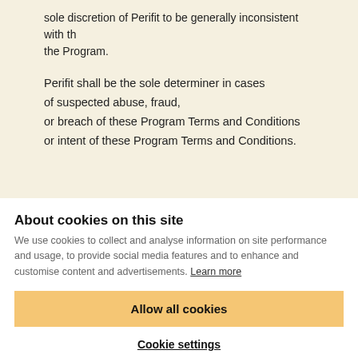sole discretion of Perifit to be generally inconsistent with the Program.
Perifit shall be the sole determiner in cases of suspected abuse, fraud, or breach of these Program Terms and Conditions or intent of these Program Terms and Conditions.
About cookies on this site
We use cookies to collect and analyse information on site performance and usage, to provide social media features and to enhance and customise content and advertisements. Learn more
Allow all cookies
Cookie settings